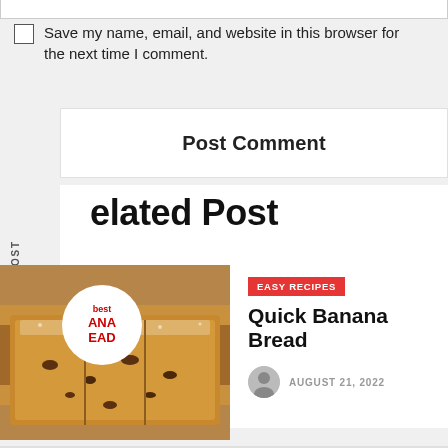Save my name, email, and website in this browser for the next time I comment.
Post Comment
PREVIOUS POST
NEXT POST
elated Post
[Figure (photo): Sliced banana bread loaf with powdered sugar on white background]
EASY RECIPES
Quick Banana Bread
AUGUST 21, 2022